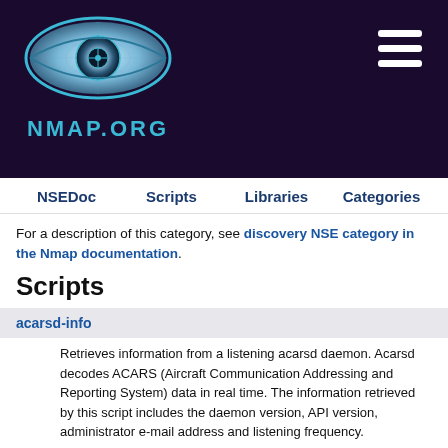[Figure (logo): Nmap.org logo with stylized eye illustration and NMAP.ORG text in cyan on dark purple background]
NSEDoc  Scripts  Libraries  Categories
For a description of this category, see discovery NSE category in the Nmap documentation.
Scripts
acarsd-info
Retrieves information from a listening acarsd daemon. Acarsd decodes ACARS (Aircraft Communication Addressing and Reporting System) data in real time. The information retrieved by this script includes the daemon version, API version, administrator e-mail address and listening frequency.
afp-ls